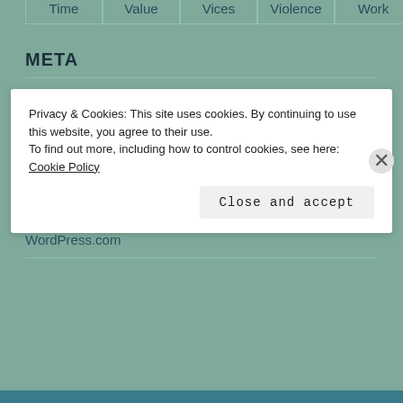Time
Value
Vices
Violence
Work
META
Register
Log in
Entries feed
Comments feed
WordPress.com
Privacy & Cookies: This site uses cookies. By continuing to use this website, you agree to their use.
To find out more, including how to control cookies, see here: Cookie Policy
Close and accept